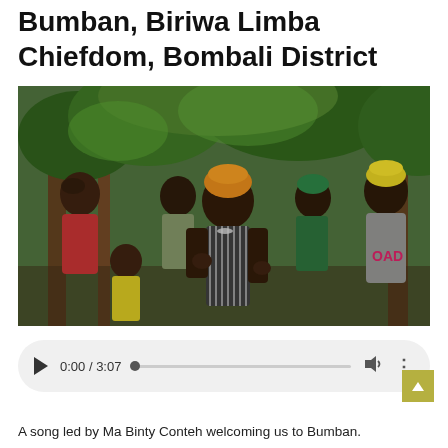Bumban, Biriwa Limba Chiefdom, Bombali District
[Figure (photo): A group of people outdoors among trees. A woman in the center wearing a patterned black and white dress and an orange headwrap appears to be singing or speaking expressively. Other adults and a child surround her, some clapping. Women in the background wear colorful headwraps.]
[Figure (screenshot): An audio player UI element showing play button, time 0:00 / 3:07, a seek bar, volume icon, and more options icon on a light gray rounded rectangle background.]
A song led by Ma Binty Conteh welcoming us to Bumban.